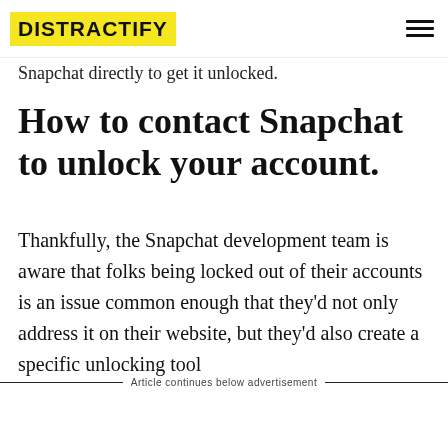DISTRACTIFY
Snapchat directly to get it unlocked.
How to contact Snapchat to unlock your account.
Thankfully, the Snapchat development team is aware that folks being locked out of their accounts is an issue common enough that they'd not only address it on their website, but they'd also create a specific unlocking tool
Article continues below advertisement